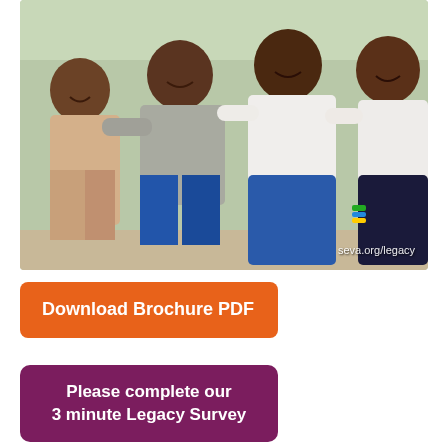[Figure (photo): Four African children in school uniforms smiling with arms around each other outdoors. A watermark reads 'seva.org/legacy' in the bottom right corner.]
Download Brochure PDF
Please complete our 3 minute Legacy Survey